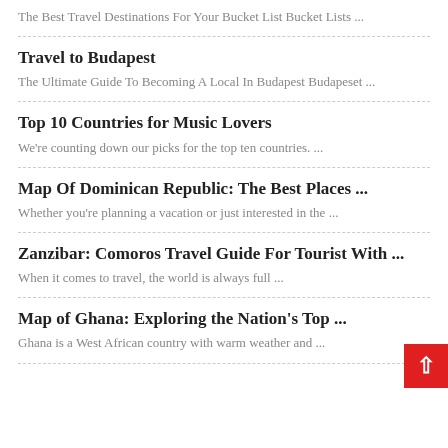The Best Travel Destinations For Your Bucket List Bucket Lists ...
Travel to Budapest
The Ultimate Guide To Becoming A Local In Budapest Budapeset ...
Top 10 Countries for Music Lovers
We're counting down our picks for the top ten countries. ...
Map Of Dominican Republic: The Best Places ...
Whether you're planning a vacation or just interested in the ...
Zanzibar: Comoros Travel Guide For Tourist With ...
When it comes to travel, the world is always full ...
Map of Ghana: Exploring the Nation's Top ...
Ghana is a West African country with warm weather and ...